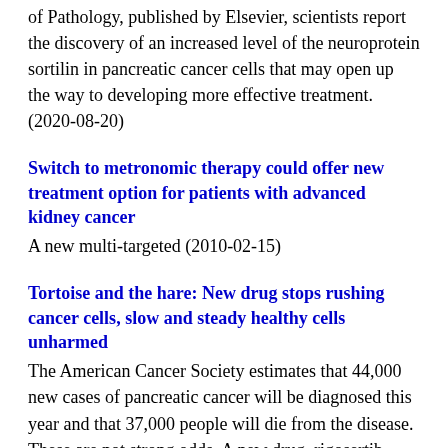of Pathology, published by Elsevier, scientists report the discovery of an increased level of the neuroprotein sortilin in pancreatic cancer cells that may open up the way to developing more effective treatment. (2020-08-20)
Switch to metronomic therapy could offer new treatment option for patients with advanced kidney cancer
A new multi-targeted (2010-02-15)
Tortoise and the hare: New drug stops rushing cancer cells, slow and steady healthy cells unharmed
The American Cancer Society estimates that 44,000 new cases of pancreatic cancer will be diagnosed this year and that 37,000 people will die from the disease. These are not strong odds. A new drug, rigosertib, allows pancreatic cancer cells to rush through replication -- and then stops them cold, killing them in in the middle of a step called M phase. Healthy cells that don't rush are unharmed. (2012-03-01)